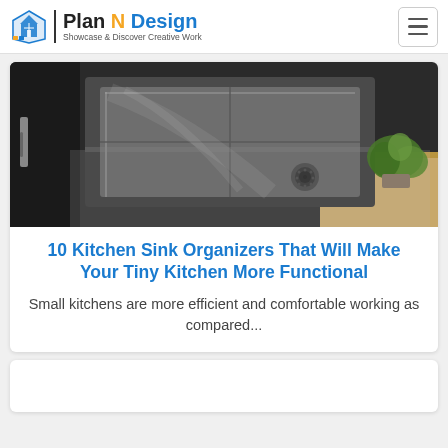Plan N Design — Showcase & Discover Creative Work
[Figure (photo): Close-up photo of a stainless steel undermount kitchen sink with dark cabinetry and a small green plant in the background on a wooden countertop]
10 Kitchen Sink Organizers That Will Make Your Tiny Kitchen More Functional
Small kitchens are more efficient and comfortable working as compared...